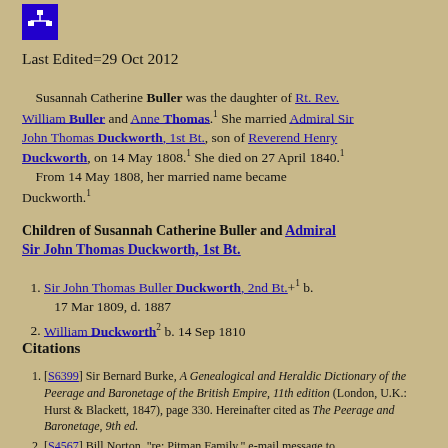[Figure (logo): Blue square icon with white family tree / hierarchy symbol]
Last Edited=29 Oct 2012
Susannah Catherine Buller was the daughter of Rt. Rev. William Buller and Anne Thomas.1 She married Admiral Sir John Thomas Duckworth, 1st Bt., son of Reverend Henry Duckworth, on 14 May 1808.1 She died on 27 April 1840.1 From 14 May 1808, her married name became Duckworth.1
Children of Susannah Catherine Buller and Admiral Sir John Thomas Duckworth, 1st Bt.
Sir John Thomas Buller Duckworth, 2nd Bt. +1 b. 17 Mar 1809, d. 1887
William Duckworth2 b. 14 Sep 1810
Citations
[S6399] Sir Bernard Burke, A Genealogical and Heraldic Dictionary of the Peerage and Baronetage of the British Empire, 11th edition (London, U.K.: Hurst & Blackett, 1847), page 330. Hereinafter cited as The Peerage and Baronetage, 9th ed.
[S4567] Bill Norton, "re: Pitman Family," e-mail message to